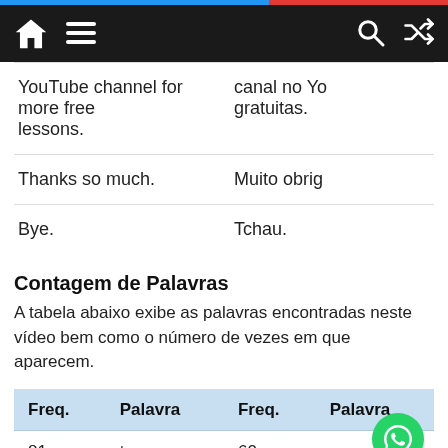Navigation bar with home, menu, search, shuffle icons
| YouTube channel for more free lessons. | canal no You gratuitas. |
| Thanks so much. | Muito obrig |
| Bye. | Tchau. |
Contagem de Palavras
A tabela abaixo exibe as palavras encontradas neste vídeo bem como o número de vezes em que aparecem.
| Freq. | Palavra | Freq. | Palavra |
| --- | --- | --- | --- |
| 81 | to | 60 | you |